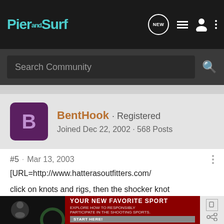Pier and Surf
Search Community
BentHook · Registered
Joined Dec 22, 2002 · 568 Posts
#5 · Mar 13, 2003
[URL=http://www.hatterasoutfitters.com/
click on knots and rigs, then the shocker knot
[Figure (screenshot): Advertisement banner: YOUR NEW FAVORITE SPORT - EXPLORE HOW TO RESPONSIBLY PARTICIPATE IN THE SHOOTING SPORTS. START HERE!]